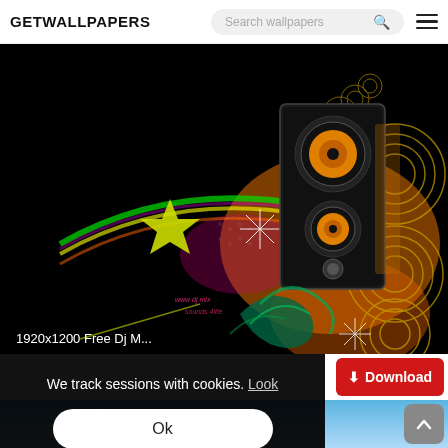GETWALLPAPERS | Search wallpapers
[Figure (illustration): Colorful DJ music speaker illustration with star, swirls, and abstract elements on black background]
1920x1200 Free Dj M...
We track sessions with cookies. Look
Ok
Download
[Figure (photo): Blue sky background partial view at the bottom of the page]